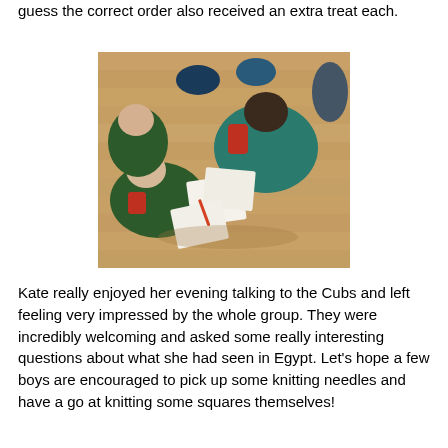guess the correct order also received an extra treat each.
[Figure (photo): Children in scout/cub uniforms sitting on a wooden floor, writing on papers, viewed from above. Several boys in green and teal uniforms are gathered around sheets of paper, appearing to be doing an activity together.]
Kate really enjoyed her evening talking to the Cubs and left feeling very impressed by the whole group. They were incredibly welcoming and asked some really interesting questions about what she had seen in Egypt. Let's hope a few boys are encouraged to pick up some knitting needles and have a go at knitting some squares themselves!